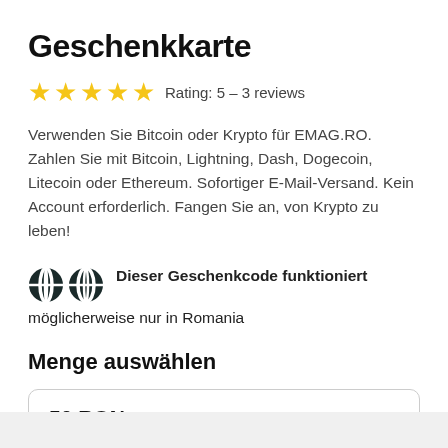Geschenkkarte
Rating: 5 – 3 reviews
Verwenden Sie Bitcoin oder Krypto für EMAG.RO. Zahlen Sie mit Bitcoin, Lightning, Dash, Dogecoin, Litecoin oder Ethereum. Sofortiger E-Mail-Versand. Kein Account erforderlich. Fangen Sie an, von Krypto zu leben!
Dieser Geschenkcode funktioniert möglicherweise nur in Romania
Menge auswählen
50 RON
Ungefährer Preis 0.00051322 BTC